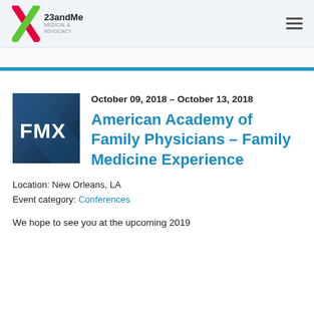23andMe Medical & Advocacy
[Figure (logo): FMX conference logo — blue and dark background with white FMX text]
October 09, 2018 – October 13, 2018
American Academy of Family Physicians – Family Medicine Experience
Location: New Orleans, LA
Event category: Conferences
We hope to see you at the upcoming 2019